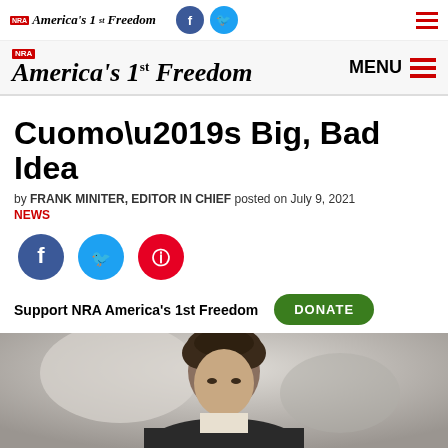NRA America's 1st Freedom
NRA America's 1st Freedom MENU
Cuomo’s Big, Bad Idea
by FRANK MINITER, EDITOR IN CHIEF posted on July 9, 2021
NEWS
[Figure (illustration): Social share icons: Facebook (dark blue circle), Twitter (light blue circle), Pinterest (red circle)]
Support NRA America’s 1st Freedom   DONATE
[Figure (photo): Photo of a man with curly dark hair, presumably Governor Cuomo, shown from the shoulders up against a blurred light background]